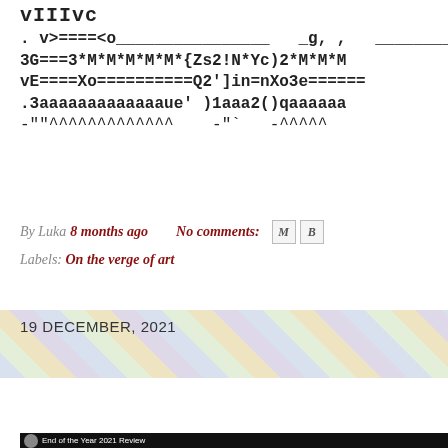vIIIvc
. v>====<o_________________ _g, , ________
3G===3*M*M*M*M*M*{Zs2!N*Yc)2*M*M*M
vE====Xo==========Q2']in=nXo3e======
.3aaaaaaaaaaaaaue' )1aaa2()qaaaaaa
-""^^^^^^^^^^^^^   -"` -^^^^^
By Luka 8 months ago   No comments:
Labels: On the verge of art
19 DECEMBER, 2021
End of the Year 2021 Review
[Figure (screenshot): Video thumbnail with avatar and text 'End of the Year 2021 Review' on dark background]